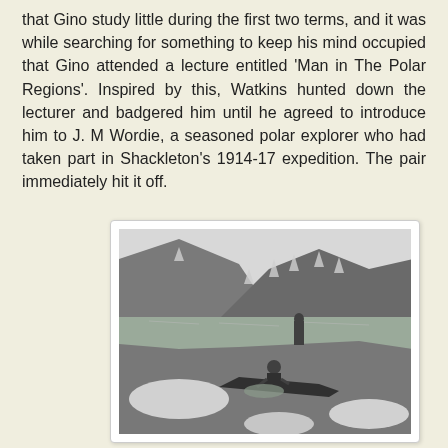that Gino study little during the first two terms, and it was while searching for something to keep his mind occupied that Gino attended a lecture entitled 'Man in The Polar Regions'. Inspired by this, Watkins hunted down the lecturer and badgered him until he agreed to introduce him to J. M Wordie, a seasoned polar explorer who had taken part in Shackleton's 1914-17 expedition. The pair immediately hit it off.
[Figure (photo): Black and white photograph of two people near a rocky shoreline with a mountain and lake in the background. One person stands, one crouches near the water's edge.]